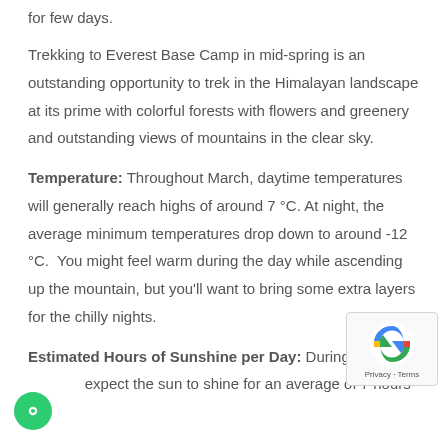for few days.
Trekking to Everest Base Camp in mid-spring is an outstanding opportunity to trek in the Himalayan landscape at its prime with colorful forests with flowers and greenery and outstanding views of mountains in the clear sky.
Temperature: Throughout March, daytime temperatures will generally reach highs of around 7 °C. At night, the average minimum temperatures drop down to around -12 °C. You might feel warm during the day while ascending up the mountain, but you'll want to bring some extra layers for the chilly nights.
Estimated Hours of Sunshine per Day: During M... expect the sun to shine for an average of 7 hours per